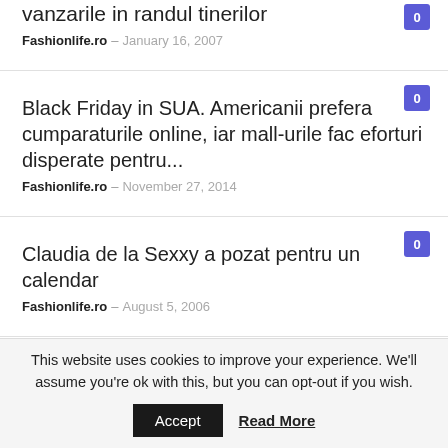vanzarile in randul tinerilor
Fashionlife.ro — January 16, 2007
Black Friday in SUA. Americanii prefera cumparaturile online, iar mall-urile fac eforturi disperate pentru...
Fashionlife.ro — November 27, 2014
Claudia de la Sexxy a pozat pentru un calendar
Fashionlife.ro — August 5, 2006
This website uses cookies to improve your experience. We'll assume you're ok with this, but you can opt-out if you wish. Accept Read More